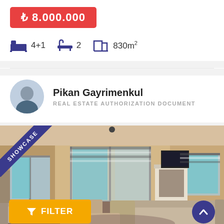₺ 8.000.000
4+1  2  830m²
Pikan Gayrimenkul
REAL ESTATE AUTHORIZATION DOCUMENT
[Figure (photo): Interior living room of a luxury villa with sofas, armchairs, fireplace, TV, and pool visible through sliding glass doors. Has a SHOWCASE ribbon banner in the top-left corner.]
FILTER
↑